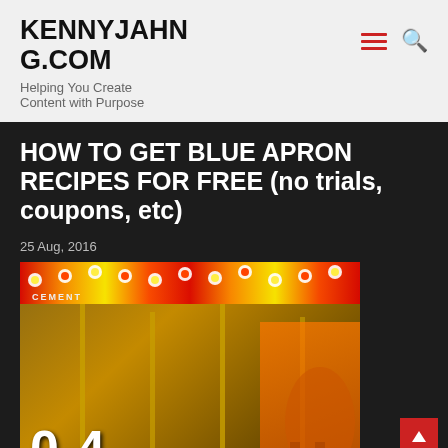KENNYJAHNG.COM
Helping You Create Content with Purpose
HOW TO GET BLUE APRON RECIPES FOR FREE (no trials, coupons, etc)
25 Aug, 2016
[Figure (photo): Carousel merry-go-round image with text overlay reading '0-4 Y GO ROUND' and 'LD AN EDITORIAL CALENDAR', with colorful carnival lights]
How To Build An Editorial Calendar Using The 10-4